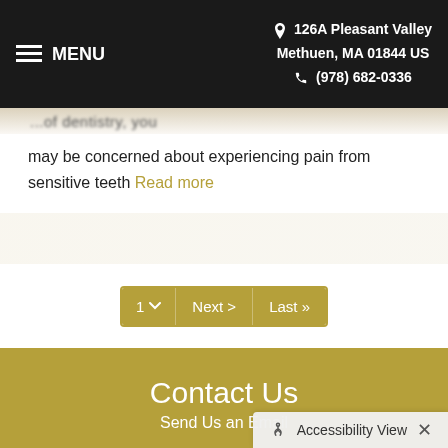≡ MENU  📍 126A Pleasant Valley Methuen, MA 01844 US  📞 (978) 682-0336
may be concerned about experiencing pain from sensitive teeth Read more
1 ∨  Next >  Last »
Contact Us
Send Us an Email
Enter your name (Required)
Accessibility View  ×